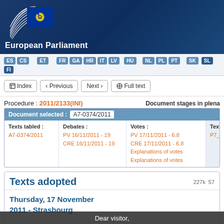[Figure (logo): European Parliament logo with circular emblem showing EU stars on blue background, white arc lines, and text 'European Parliament' in white below]
ES CS  ET  FR GA HR IT LV  HU  NL PL PT  SK SL FI
[Figure (screenshot): Navigation bar with Index, Previous, Next, Full text buttons]
Procedure : 2011/2133(INI)    Document stages in plena
| Document selected: | A7-0374/2011 |
| --- | --- |
| Texts tabled : | Debates : | Votes : | Texts adopted : |
| A7-0374/2011 | PV 16/11/2011 - 19
CRE 16/11/2011 - 19 | PV 17/11/2011 - 6.8
CRE 17/11/2011 - 6.8
Explanations of votes
Explanations of votes | P7_TA(2011)051 |
Texts adopted
227k  57
Thursday, 17 November 2011 - Strasbourg
Dear visitor,